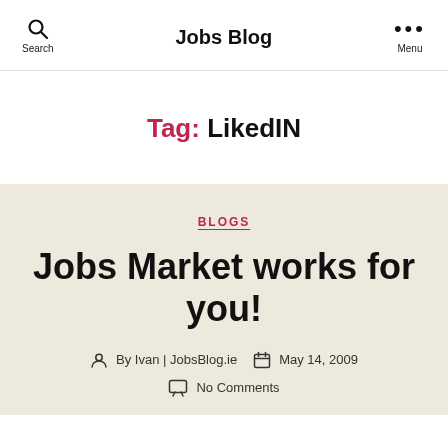Jobs Blog
Tag: LikedIN
BLOGS
Jobs Market works for you!
By Ivan | JobsBlog.ie   May 14, 2009
No Comments